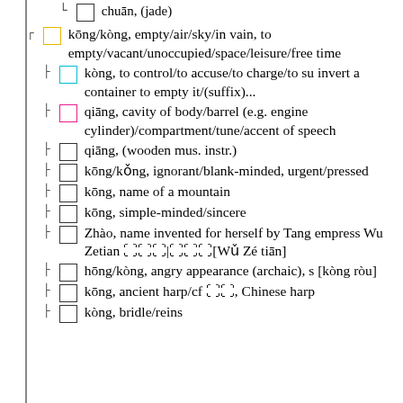⊟ chuān, (jade)
⊟ kōng/kòng, empty/air/sky/in vain, to empty/vacant/unoccupied/space/leisure/free time
⊟ kòng, to control/to accuse/to charge/to su invert a container to empty it/(suffix)...
⊟ qiāng, cavity of body/barrel (e.g. engine cylinder)/compartment/tune/accent of speech
⊟ qiāng, (wooden mus. instr.)
⊟ kōng/kǒng, ignorant/blank-minded, urgent/pressed
⊟ kōng, name of a mountain
⊟ kōng, simple-minded/sincere
⊟ Zhào, name invented for herself by Tang empress Wu Zetian □□□|□□□[Wǔ Zé tiān]
⊟ hōng/kòng, angry appearance (archaic), [kòng ròu]
⊟ kōng, ancient harp/cf □□, Chinese harp
⊟ kòng, bridle/reins